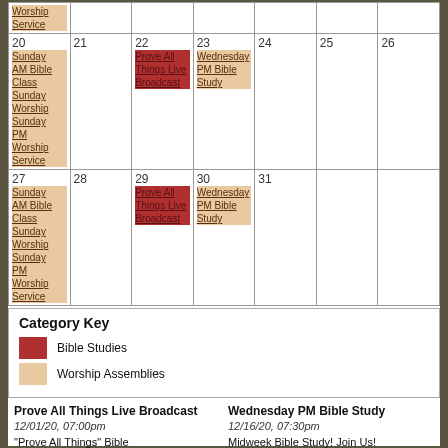| Sun | Mon | Tue | Wed | Thu | Fri | Sat |
| --- | --- | --- | --- | --- | --- | --- |
| Worship Service |  |  |  |  |  |  |
| 20
Sunday AM Bible Class
Sunday Worship
Sunday PM Worship Service | 21 | 22
Prove All Things Live Broadcast | 23
Wednesday PM Bible Study | 24 | 25 | 26 |
| 27
Sunday AM Bible Class
Sunday Worship
Sunday PM Worship Service | 28 | 29
Prove All Things Live Broadcast | 30
Wednesday PM Bible Study | 31 |  |  |
Category Key
Bible Studies
Worship Assemblies
Prove All Things Live Broadcast
12/01/20, 07:00pm
"Prove All Things" Bible
Wednesday PM Bible Study
12/16/20, 07:30pm
Midweek Bible Study! Join Us!